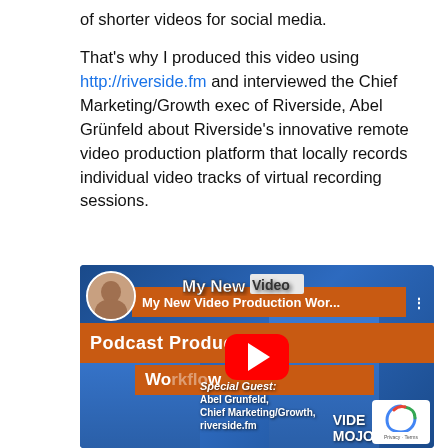of shorter videos for social media.
That's why I produced this video using http://riverside.fm and interviewed the Chief Marketing/Growth exec of Riverside, Abel Grünfeld about Riverside's innovative remote video production platform that locally records individual video tracks of virtual recording sessions.
[Figure (screenshot): YouTube video thumbnail showing 'My New Video Production Wor...' with 'Podcast Production' banner, play button, two people (host and guest Abel Grunfeld), and special guest text identifying Abel Grunfeld as Chief Marketing/Growth at riverside.fm. Video Mojo branding visible. A reCAPTCHA badge appears in the bottom right corner.]